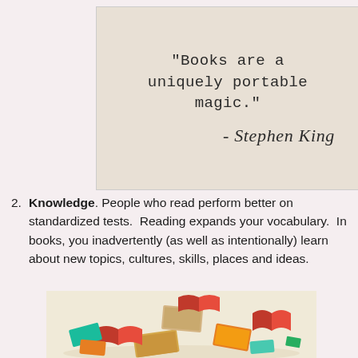[Figure (photo): Photo of a typewritten quote on paper: "Books are a uniquely portable magic." with a cursive signature reading - Stephen King]
Knowledge. People who read perform better on standardized tests. Reading expands your vocabulary. In books, you inadvertently (as well as intentionally) learn about new topics, cultures, skills, places and ideas.
[Figure (illustration): Colorful illustration of a large pile of open and closed books in various colors including red, orange, teal, and tan, arranged in a heap]